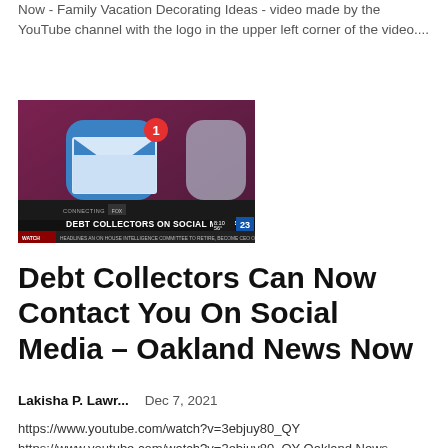Now - Family Vacation Decorating Ideas - video made by the YouTube channel with the logo in the upper left corner of the video....
[Figure (screenshot): Screenshot of a TV news segment showing a smartphone with an email app icon with a notification badge, and a chyron reading 'DEBT COLLECTORS ON SOCIAL MEDIA', with a news ticker below on channel 23.]
Debt Collectors Can Now Contact You On Social Media – Oakland News Now
Lakisha P. Lawr...    Dec 7, 2021
https://www.youtube.com/watch?v=3ebjuy80_QY
https://www.youtube.com/watch?v=3ebjuy80_QY Oakland News